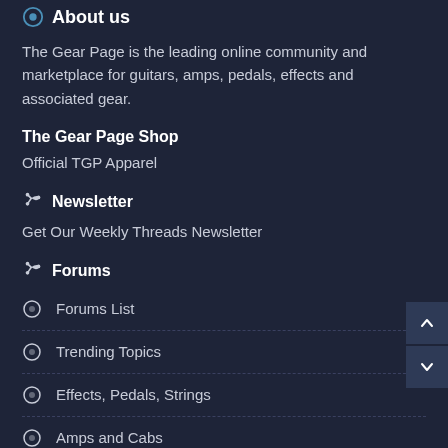About us
The Gear Page is the leading online community and marketplace for guitars, amps, pedals, effects and associated gear.
The Gear Page Shop
Official TGP Apparel
Newsletter
Get Our Weekly Threads Newsletter
Forums
Forums List
Trending Topics
Effects, Pedals, Strings
Amps and Cabs